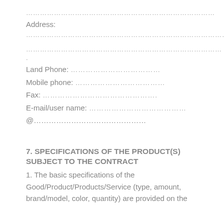………………………………………………………………………
Address:
……………………………………………………………………………
………………………………………………………………………… .
Land Phone: ………………………………
Mobile phone: ………………………………
Fax: ……………………………………….
E-mail/user name: …………………………………
@………………………………………
7. SPECIFICATIONS OF THE PRODUCT(S) SUBJECT TO THE CONTRACT
1. The basic specifications of the Good/Product/Products/Service (type, amount, brand/model, color, quantity) are provided on the